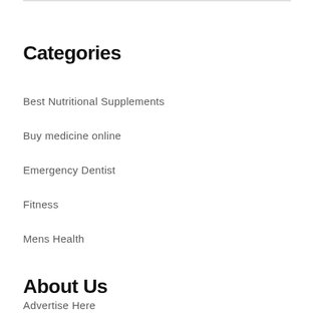Categories
Best Nutritional Supplements
Buy medicine online
Emergency Dentist
Fitness
Mens Health
About Us
Advertise Here